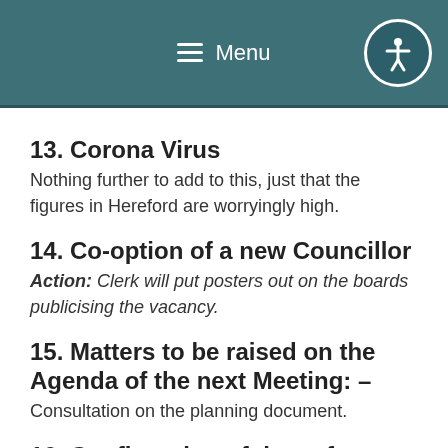Menu
13. Corona Virus
Nothing further to add to this, just that the figures in Hereford are worryingly high.
14. Co-option of a new Councillor
Action: Clerk will put posters out on the boards publicising the vacancy.
15. Matters to be raised on the Agenda of the next Meeting: –
Consultation on the planning document.
16. Confirmation of date of next Parish Council Meeting:-
The next meetings will be on Tuesday December